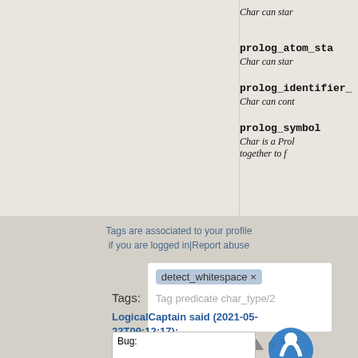Char can star
prolog_atom_sta
Char can star
prolog_identifier_
Char can cont
prolog_symbol
Char is a Prol together to f
Tags are associated to your profile if you are logged in|Report abuse
Tags:
detect_whitespace ×
Tag predicate char_type/2
LogicalCaptain said (2021-05-23T09:12:17):
0
Bug: